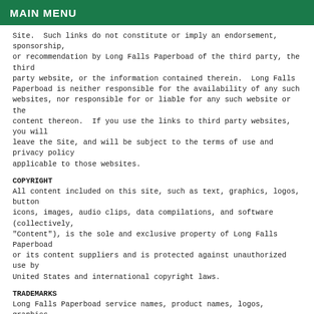MAIN MENU
Site.  Such links do not constitute or imply an endorsement, sponsorship, or recommendation by Long Falls Paperboad of the third party, the third party website, or the information contained therein.  Long Falls Paperboad is neither responsible for the availability of any such websites, nor responsible for or liable for any such website or the content thereon.  If you use the links to third party websites, you will leave the Site, and will be subject to the terms of use and privacy policy applicable to those websites.
COPYRIGHT
All content included on this site, such as text, graphics, logos, button icons, images, audio clips, data compilations, and software (collectively, "Content"), is the sole and exclusive property of Long Falls Paperboad or its content suppliers and is protected against unauthorized use by United States and international copyright laws.
TRADEMARKS
Long Falls Paperboad service names, product names, logos, graphics, images, content, page headers, button icons, and scripts, including LONG FALLS PAPERBOAD, are trade names, trademarks, services marks, or trade dress of Long Falls Paperboad in the United States and/or other countries.  Long Falls Paperboad's trade names, trademarks, service marks and trade dress may not be used in connection with any product or service that is not Long Falls Paperboad's, in any manner that is likely to cause confusion among customers, or in any manner that disparages or discredits Long Falls Paperboad. All other product or service names,